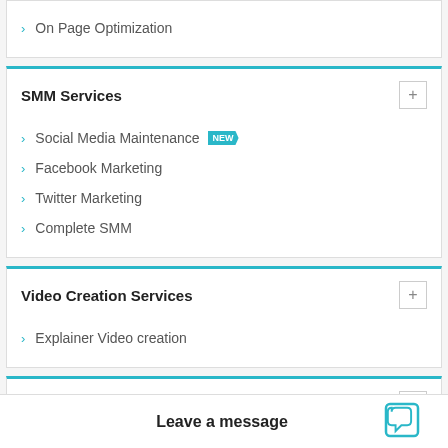On Page Optimization
SMM Services
Social Media Maintenance NEW
Facebook Marketing
Twitter Marketing
Complete SMM
Video Creation Services
Explainer Video creation
Content Writing Services
Website Content Writing
Leave a message